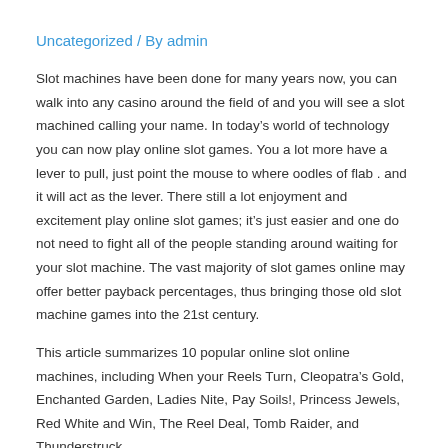Uncategorized / By admin
Slot machines have been done for many years now, you can walk into any casino around the field of and you will see a slot machined calling your name. In today’s world of technology you can now play online slot games. You a lot more have a lever to pull, just point the mouse to where oodles of flab . and it will act as the lever. There still a lot enjoyment and excitement play online slot games; it’s just easier and one do not need to fight all of the people standing around waiting for your slot machine. The vast majority of slot games online may offer better payback percentages, thus bringing those old slot machine games into the 21st century.
This article summarizes 10 popular online slot online machines, including When your Reels Turn, Cleopatra’s Gold, Enchanted Garden, Ladies Nite, Pay Soils!, Princess Jewels, Red White and Win, The Reel Deal, Tomb Raider, and Thunderstruck.